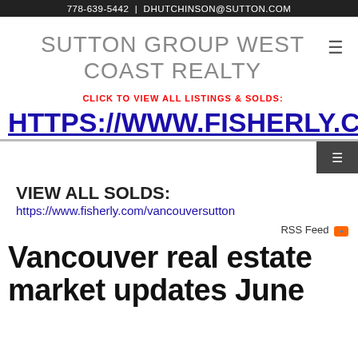778-639-5442 | DHUTCHINSON@SUTTON.COM
SUTTON GROUP WEST COAST REALTY
CLICK TO VIEW ALL LISTINGS & SOLDS:
HTTPS://WWW.FISHERLY.COM/
VIEW ALL SOLDS:
https://www.fisherly.com/vancouversutton
RSS Feed
Vancouver real estate market updates June